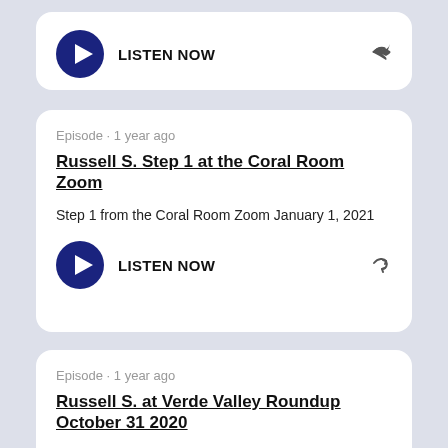[Figure (other): Play button card with LISTEN NOW text and share icon]
Episode · 1 year ago
Russell S. Step 1 at the Coral Room Zoom
Step 1 from the Coral Room Zoom January 1, 2021
[Figure (other): Play button card with LISTEN NOW text and share icon]
Episode · 1 year ago
Russell S. at Verde Valley Roundup October 31 2020
Russell S. at tje Verde Valley Roundup in Arizona October 31 2020